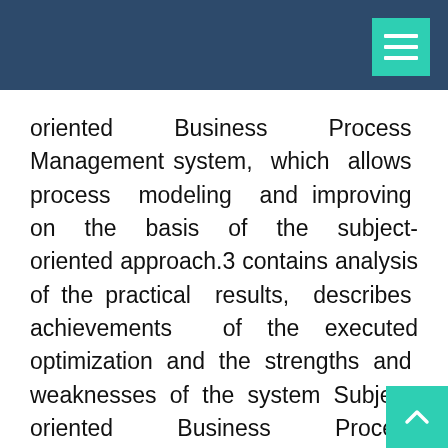oriented Business Process Management system, which allows process modeling and improving on the basis of the subject-oriented approach.3 contains analysis of the practical results, describes achievements of the executed optimization and the strengths and weaknesses of the system Subject-oriented Business Process Management. Also there is an examination of the systems opportunities and facilities of its application for an enterprise.of the project results resumes the outcomes of the subject approach implementation in practice and